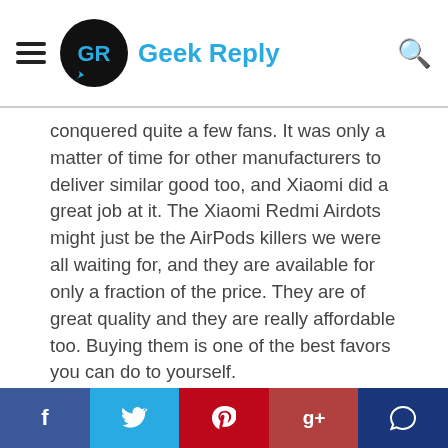Geek Reply
conquered quite a few fans. It was only a matter of time for other manufacturers to deliver similar good too, and Xiaomi did a great job at it. The Xiaomi Redmi Airdots might just be the AirPods killers we were all waiting for, and they are available for only a fraction of the price. They are of great quality and they are really affordable too. Buying them is one of the best favors you can do to yourself.
[Figure (photo): Close-up photo of a dark grey Redmi wireless earbuds charging case with 'Redmi' text on the surface]
Social share bar: Facebook, Twitter, Pinterest, Google+, Comment